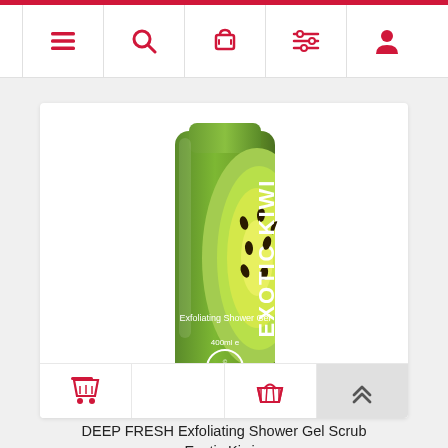Navigation bar with menu, search, cart, filter, and account icons
[Figure (photo): DEEP FRESH Exotic Kiwi Exfoliating Shower Gel bottle (400ml), green cylindrical bottle with kiwi fruit image and white text reading EXOTIC KIWI and Exfoliating Shower Gel]
DEEP FRESH Exfoliating Shower Gel Scrub Exotic Kiwi - 400ml
Tk 650.00
[Figure (screenshot): Bottom action bar with shopping cart icons and scroll-to-top button]